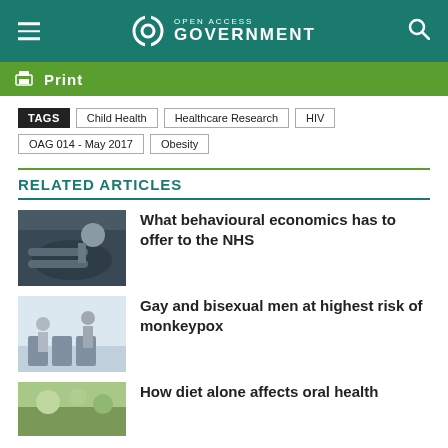Open Access Government
Print
TAGS  Child Health  Healthcare Research  HIV  OAG 014 - May 2017  Obesity
RELATED ARTICLES
[Figure (photo): Person lifting weights at gym]
What behavioural economics has to offer to the NHS
[Figure (photo): People sitting in a waiting room]
Gay and bisexual men at highest risk of monkeypox
[Figure (photo): Partial view of another article image]